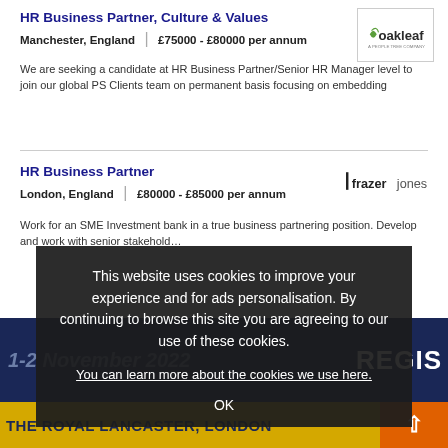HR Business Partner, Culture & Values
Manchester, England | £75000 - £80000 per annum
We are seeking a candidate at HR Business Partner/Senior HR Manager level to join our global PS Clients team on permanent basis focusing on embedding
[Figure (logo): Oakleaf logo with green leaf icon]
HR Business Partner
London, England | £80000 - £85000 per annum
Work for an SME Investment bank in a true business partnering position. Develop and work with senior stakehold…
[Figure (logo): Frazer Jones logo]
This website uses cookies to improve your experience and for ads personalisation. By continuing to browse this site you are agreeing to our use of these cookies.
You can learn more about the cookies we use here.
OK
1-2 November 2022
REGIS
THE ROYAL LANCASTER, LONDON